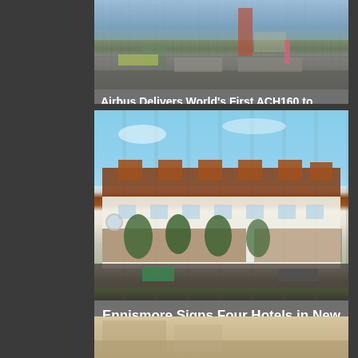[Figure (photo): Aerial view of a city with buildings, parking areas, and urban landscape]
Airbus Delivers World's First ACH160 to Helibras
[Figure (photo): Exterior rendering of a hotel building with white facade, copper/red roof dormers, trees along the street, and cars in foreground]
Ennismore Signs Four Hotels in New Zealand
[Figure (photo): Partial view of hotel interior, warm tones]